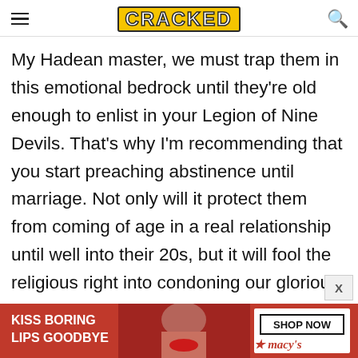CRACKED
My Hadean master, we must trap them in this emotional bedrock until they're old enough to enlist in your Legion of Nine Devils. That's why I'm recommending that you start preaching abstinence until marriage. Not only will it protect them from coming of age in a real relationship until well into their 20s, but it will fool the religious right into condoning our glorious deviltry a little longer.
Related: 5 Days Undercover as a Justin Bieber Fan
[Figure (other): Advertisement banner for Macy's lip products reading 'KISS BORING LIPS GOODBYE' with a SHOP NOW button and Macy's star logo]